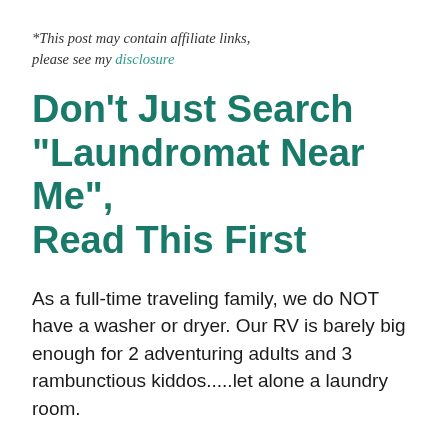*This post may contain affiliate links, please see my disclosure
Don’t Just Search “Laundromat Near Me”, Read This First
As a full-time traveling family, we do NOT have a washer or dryer. Our RV is barely big enough for 2 adventuring adults and 3 rambunctious kiddos.....let alone a laundry room.
So we are CONSTANTLY searching “laundromat near me” and hoping we don’t roll into town and have to...